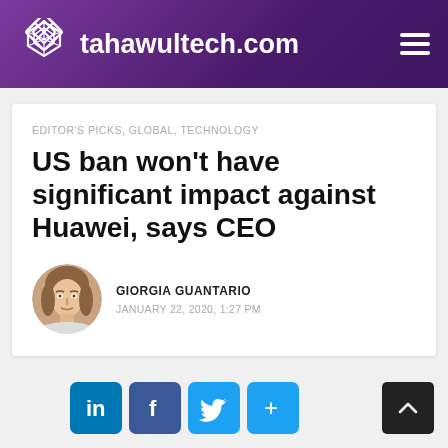tahawultech.com
EDITOR'S PICKS, GLOBAL, TECHNOLOGY
US ban won't have significant impact against Huawei, says CEO
GIORGIA GUANTARIO
JANUARY 22, 2020, 1:27 PM